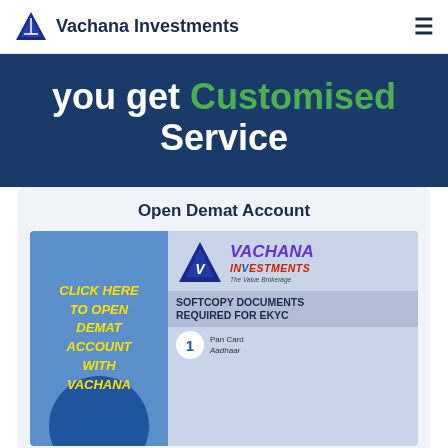Vachana Investments
you get Customised Service
Open Demat Account
[Figure (infographic): Two-panel promotional graphic. Left panel: blue background with yellow italic bold text reading 'CLICK HERE TO OPEN DEMAT ACCOUNT WITH VACHANA' and a dark blue circle at bottom. Right panel: top portion shows Vachana Investments logo (purple triangle with 'V' and text 'VACHANA INVESTMENTS' in purple/red italic bold), bottom portion shows 'SOFTCOPY DOCUMENTS REQUIRED for eKYC' with a circled number 1 and 'Pan Card / Aadhaar' text.]